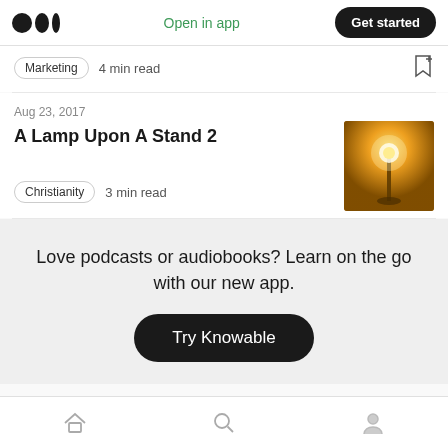Medium logo | Open in app | Get started
Marketing  4 min read
Aug 23, 2017
A Lamp Upon A Stand 2
Christianity  3 min read
[Figure (photo): Thumbnail image of a glowing lamp on a stand against a warm orange/yellow background]
Love podcasts or audiobooks? Learn on the go with our new app.
Try Knowable
Home | Search | Profile navigation icons